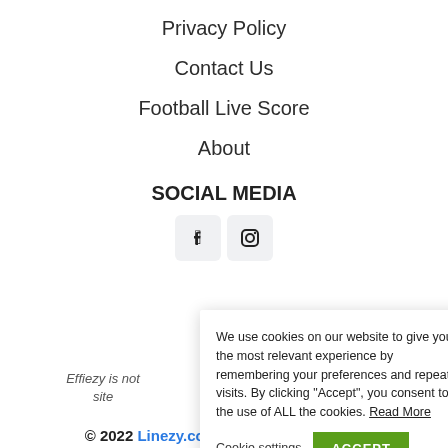Privacy Policy
Contact Us
Football Live Score
About
SOCIAL MEDIA
[Figure (illustration): Social media icons: Facebook and Instagram icon buttons]
Effiezy is not … site …
We use cookies on our website to give you the most relevant experience by remembering your preferences and repeat visits. By clicking "Accept", you consent to the use of ALL the cookies. Read More
Cookie settings   ACCEPT
© 2022 Linezy.com All Rights Reserved